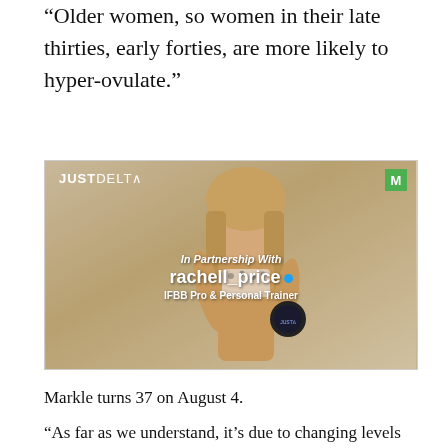“Older women, so women in their late thirties, early forties, are more likely to hyper-ovulate.”
[Figure (photo): Advertisement for JustDelta featuring rachell_price, IFBB Pro & Personal Trainer, holding a product container. Woman in leopard print bikini. Green M badge in top right corner. Text reads: In Partnership With rachell_price (blue verified dot) IFBB Pro & Personal Trainer.]
Markle turns 37 on August 4.
“As far as we understand, it’s due to changing levels